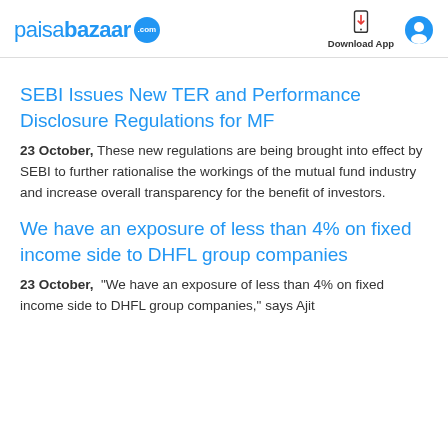paisabazaar.com | Download App
SEBI Issues New TER and Performance Disclosure Regulations for MF
23 October, These new regulations are being brought into effect by SEBI to further rationalise the workings of the mutual fund industry and increase overall transparency for the benefit of investors.
We have an exposure of less than 4% on fixed income side to DHFL group companies
23 October, “We have an exposure of less than 4% on fixed income side to DHFL group companies,” says Ajit